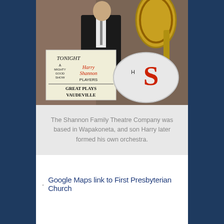[Figure (photo): A person in formal attire standing next to a sign that reads 'TONIGHT A MIGHTY GOOD SHOW Harry Shannon PLAYERS GREAT PLAYS VAUDEVILLE' and a large drum with 'S' on it and a tuba visible in the background.]
The Shannon Family Theatre Company was based in Wapakoneta, and son Harry later formed his own orchestra.
Google Maps link to First Presbyterian Church